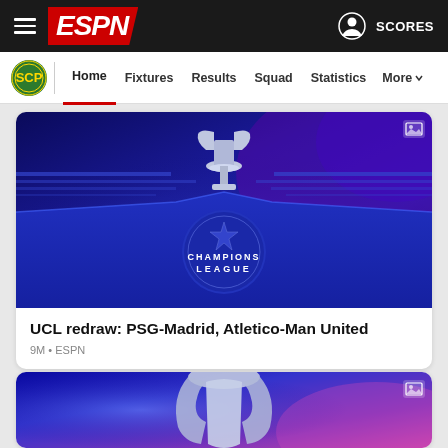ESPN — Hamburger menu, ESPN logo, user icon, SCORES
Sporting CP — Home | Fixtures | Results | Squad | Statistics | More
[Figure (photo): UEFA Champions League draw stage with silver trophy and blue Champions League branded podium, purple and blue stage lighting]
UCL redraw: PSG-Madrid, Atletico-Man United
9M • ESPN
[Figure (photo): UEFA Champions League trophy on blue and purple lit background (partial, bottom of page)]